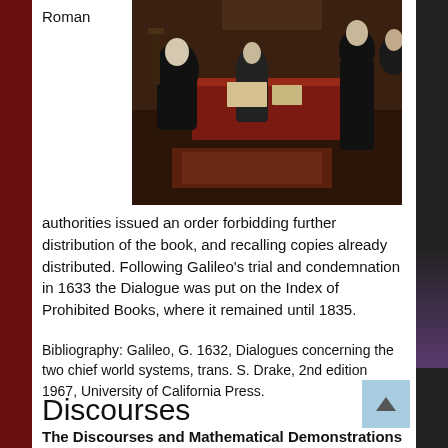Roman
[Figure (photo): Historical painting depicting Galileo's trial before Roman Catholic Church inquisitors. Several figures in dark robes are seated at a table with a red cloth, with others standing.]
authorities issued an order forbidding further distribution of the book, and recalling copies already distributed. Following Galileo's trial and condemnation in 1633 the Dialogue was put on the Index of Prohibited Books, where it remained until 1835.
Bibliography: Galileo, G. 1632, Dialogues concerning the two chief world systems, trans. S. Drake, 2nd edition 1967, University of California Press.
Discourses
The Discourses and Mathematical Demonstrations Relating to Two New Sciences